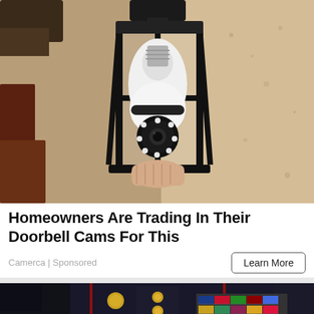[Figure (photo): A security camera shaped like a light bulb installed inside a black outdoor lantern fixture mounted on a textured stucco wall. A hand is holding or adjusting the camera, which has a round lens with LED ring lights.]
Homeowners Are Trading In Their Doorbell Cams For This
Camerca | Sponsored
[Figure (photo): Close-up of a person wearing a dark military dress uniform with red trim, gold buttons, and a row of colorful military ribbons/medals on the chest.]